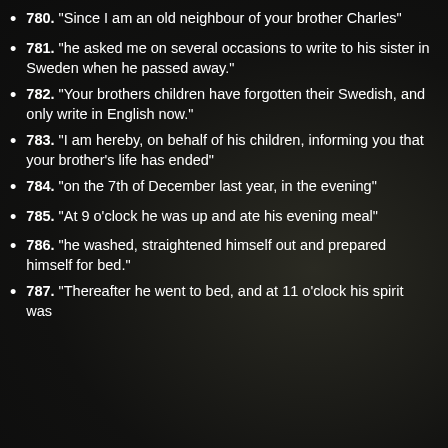780. "Since I am an old neighbour of your brother Charles"
781. "he asked me on several occasions to write to his sister in Sweden when he passed away."
782. "Your brothers children have forgotten their Swedish, and only write in English now."
783. "I am hereby, on behalf of his children, informing you that your brother's life has ended"
784. "on the 7th of December last year, in the evening"
785. "At 9 o'clock he was up and ate his evening meal"
786. "he washed, straightened himself out and prepared himself for bed."
787. "Thereafter he went to bed, and at 11 o'clock his spirit was